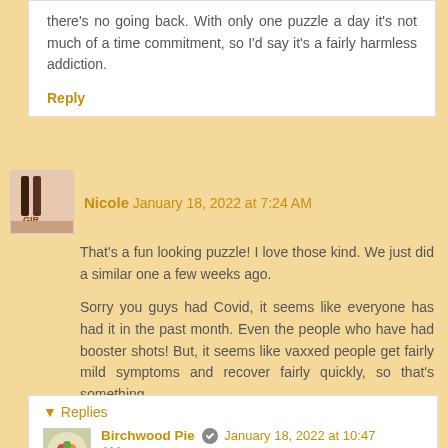there's no going back. With only one puzzle a day it's not much of a time commitment, so I'd say it's a fairly harmless addiction.
Reply
Nicole  January 18, 2022 at 7:24 AM
That's a fun looking puzzle! I love those kind. We just did a similar one a few weeks ago.
Sorry you guys had Covid, it seems like everyone has had it in the past month. Even the people who have had booster shots! But, it seems like vaxxed people get fairly mild symptoms and recover fairly quickly, so that's something.
Reply
▾ Replies
Birchwood Pie  January 18, 2022 at 10:47 AM